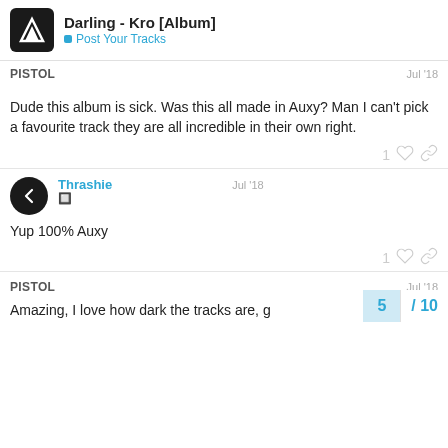Darling - Kro [Album] | Post Your Tracks
PISTOL  Jul '18
Dude this album is sick. Was this all made in Auxy? Man I can't pick a favourite track they are all incredible in their own right.
Thrashie  Jul '18
Yup 100% Auxy
PISTOL  Jul '18
Amazing, I love how dark the tracks are, g
5 / 10